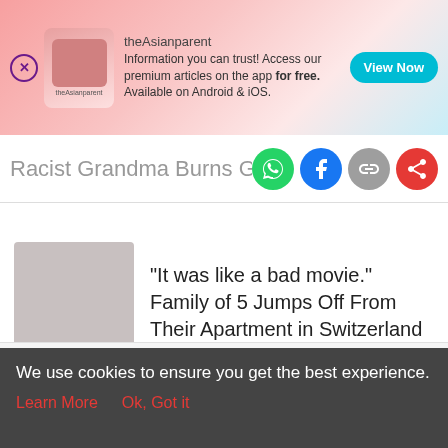[Figure (screenshot): theAsianparent app advertisement banner with pink gradient background, logo, baby image, and 'View Now' button. Text: 'Information you can trust! Access our premium articles on the app for free. Available on Android & iOS.']
Racist Grandma Burns Granddaughter
[Figure (screenshot): Article card with grey placeholder thumbnail image and headline: '"It was like a bad movie." Family of 5 Jumps Off From Their Apartment in Switzerland']
[Figure (screenshot): Mobile app bottom navigation bar with Tools, Articles, Home (pink circle with baby feet), Feed, and Poll icons]
We use cookies to ensure you get the best experience.
Learn More   Ok, Got it